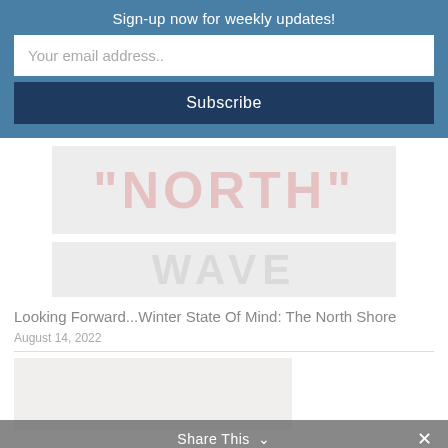Sign-up now for weekly updates!
Your email address..
Subscribe
[Figure (photo): Faded image with large NORTH text in red/pink tones]
[Figure (photo): Faded image with large WAVE text in light gray tones]
Looking Forward...Winter State Of Mind: The North Shore
August 14, 2022
[Figure (photo): Faded outdoor/landscape photo in light beige/gray tones]
Share This ∨  ✕